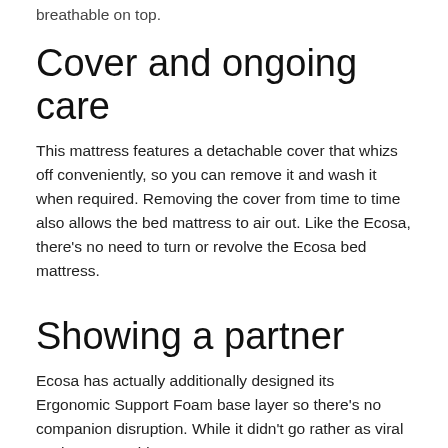breathable on top.
Cover and ongoing care
This mattress features a detachable cover that whizs off conveniently, so you can remove it and wash it when required. Removing the cover from time to time also allows the bed mattress to air out. Like the Ecosa, there’s no need to turn or revolve the Ecosa bed mattress.
Showing a partner
Ecosa has actually additionally designed its Ergonomic Support Foam base layer so there’s no companion disruption. While it didn’t go rather as viral as the Ecosa video,